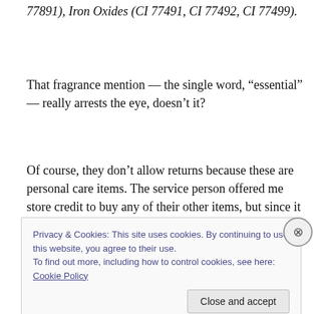77891), Iron Oxides (CI 77491, CI 77492, CI 77499).
That fragrance mention — the single word, “essential” — really arrests the eye, doesn’t it?
Of course, they don’t allow returns because these are personal care items. The service person offered me store credit to buy any of their other items, but since it will take
Privacy & Cookies: This site uses cookies. By continuing to use this website, you agree to their use.
To find out more, including how to control cookies, see here: Cookie Policy
Close and accept